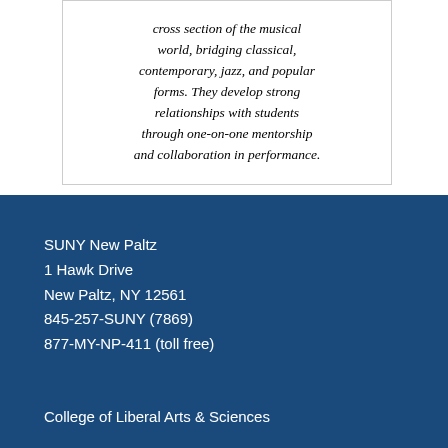cross section of the musical world, bridging classical, contemporary, jazz, and popular forms. They develop strong relationships with students through one-on-one mentorship and collaboration in performance.
SUNY New Paltz
1 Hawk Drive
New Paltz, NY 12561
845-257-SUNY (7869)
877-MY-NP-411 (toll free)
College of Liberal Arts & Sciences